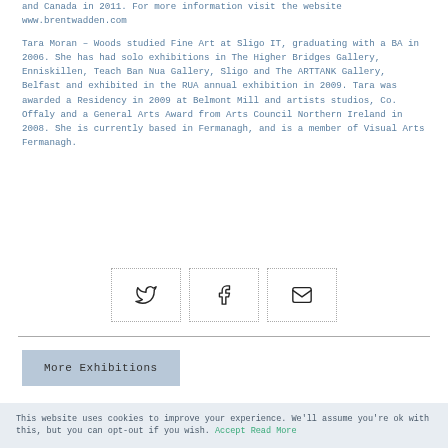and Canada in 2011. For more information visit the website www.brentwadden.com
Tara Moran – Woods studied Fine Art at Sligo IT, graduating with a BA in 2006. She has had solo exhibitions in The Higher Bridges Gallery, Enniskillen, Teach Ban Nua Gallery, Sligo and The ARTTANK Gallery, Belfast and exhibited in the RUA annual exhibition in 2009. Tara was awarded a Residency in 2009 at Belmont Mill and artists studios, Co. Offaly and a General Arts Award from Arts Council Northern Ireland in 2008. She is currently based in Fermanagh, and is a member of Visual Arts Fermanagh.
[Figure (infographic): Three dotted-border boxes with social media icons: Twitter bird, Facebook f, and email envelope]
More Exhibitions
This website uses cookies to improve your experience. We'll assume you're ok with this, but you can opt-out if you wish. Accept Read More